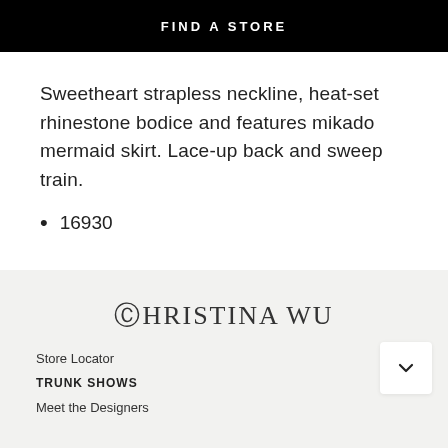FIND A STORE
Sweetheart strapless neckline, heat-set rhinestone bodice and features mikado mermaid skirt. Lace-up back and sweep train.
16930
[Figure (logo): Christina Wu brand logo in serif font on light grey background]
Store Locator
TRUNK SHOWS
Meet the Designers